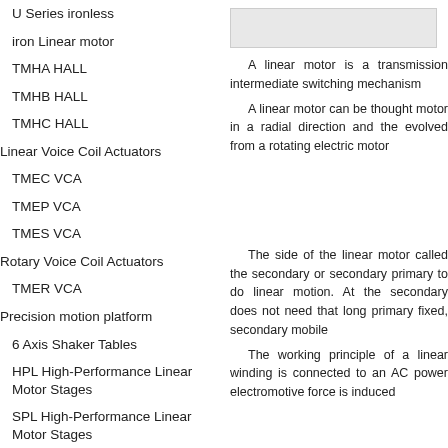U Series ironless
iron Linear motor
TMHA HALL
TMHB HALL
TMHC HALL
Linear Voice Coil Actuators
TMEC VCA
TMEP VCA
TMES VCA
Rotary Voice Coil Actuators
TMER VCA
Precision motion platform
6 Axis Shaker Tables
HPL High-Performance Linear Motor Stages
SPL High-Performance Linear Motor Stages
XY-HPL High-Performance Linear Motor
[Figure (other): Gray rectangular box, likely a search or navigation UI element]
A linear motor is a transmis... intermediate switching mechani...
A linear motor can be thou... motor in a radial direction and th... evolved from a rotating electric ...
The side of the linear moto... called the secondary or seconda... primary to do linear motion. At th... secondary does not need that lo... primary fixed, secondary mobile...
The working principle of a l... winding is connected to an AC p... electromotive force is induced...